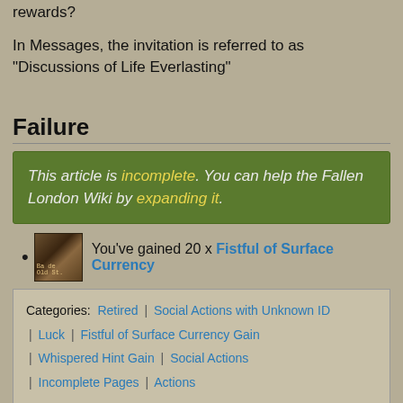rewards?
In Messages, the invitation is referred to as "Discussions of Life Everlasting"
Failure
This article is incomplete. You can help the Fallen London Wiki by expanding it.
You've gained 20 x Fistful of Surface Currency
Categories: Retired | Social Actions with Unknown ID | Luck | Fistful of Surface Currency Gain | Whispered Hint Gain | Social Actions | Incomplete Pages | Actions